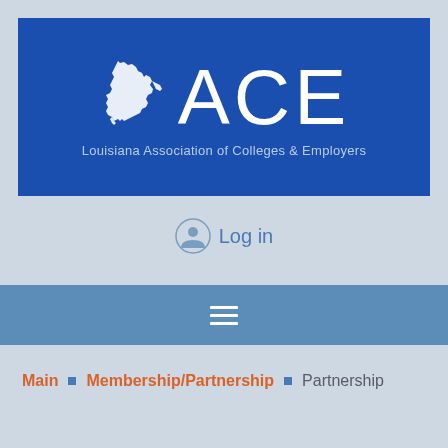[Figure (logo): ACE Louisiana Association of Colleges & Employers logo on blue banner background. White Louisiana state silhouette icon on the left, large white 'ACE' text on the right, and 'Louisiana Association of Colleges & Employers' text below in light blue.]
Log in
[Figure (other): Hamburger menu icon (three horizontal white lines) on a medium blue navigation bar]
Main ■ Membership/Partnership ■ Partnership